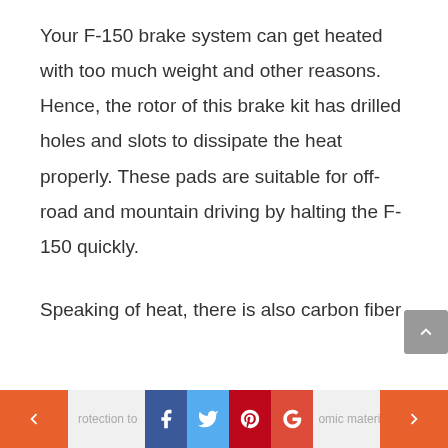Your F-150 brake system can get heated with too much weight and other reasons. Hence, the rotor of this brake kit has drilled holes and slots to dissipate the heat properly. These pads are suitable for off-road and mountain driving by halting the F-150 quickly.

Speaking of heat, there is also carbon fiber
< protection to [Facebook] [Twitter] [Pinterest] [Google+] omic material >